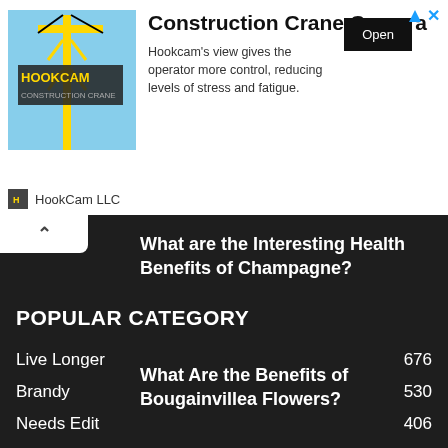[Figure (infographic): Advertisement banner for HookCam LLC featuring a construction crane image, title 'Construction Crane Camera', description text, and an Open button.]
Construction Crane Camera
Hookcam's view gives the operator more control, reducing levels of stress and fatigue.
HookCam LLC
What are the Interesting Health Benefits of Champagne?
What Are the Benefits of Bougainvillea Flowers?
POPULAR CATEGORY
Live Longer   676
Brandy   530
Needs Edit   406